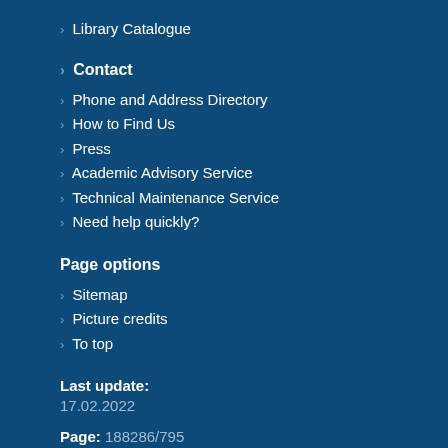› Library Catalogue
› Contact
› Phone and Address Directory
› How to Find Us
› Press
› Academic Advisory Service
› Technical Maintenance Service
› Need help quickly?
Page options
› Sitemap
› Picture credits
› To top
Last update: 17.02.2022
Page: 188286/795